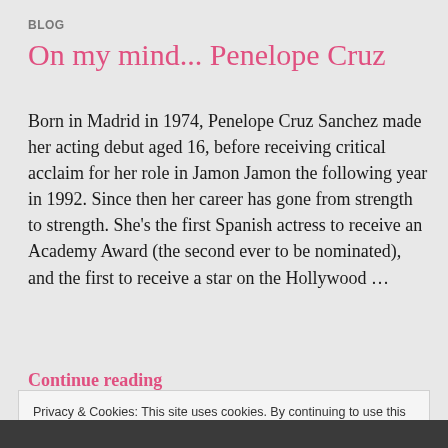BLOG
On my mind... Penelope Cruz
Born in Madrid in 1974, Penelope Cruz Sanchez made her acting debut aged 16, before receiving critical acclaim for her role in Jamon Jamon the following year in 1992. Since then her career has gone from strength to strength. She’s the first Spanish actress to receive an Academy Award (the second ever to be nominated), and the first to receive a star on the Hollywood …
Continue reading
Privacy & Cookies: This site uses cookies. By continuing to use this website, you agree to their use.
To find out more, including how to control cookies, see here:
Cookie Policy
Close and accept
[Figure (photo): Dark photo strip at bottom of page]